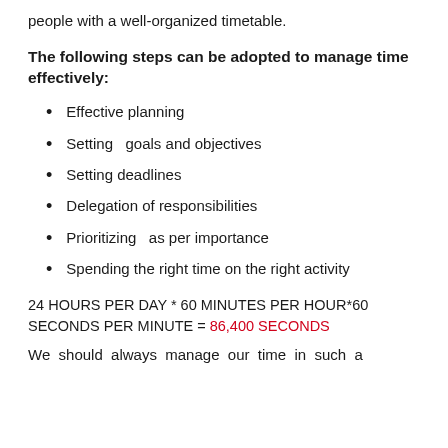people with a well-organized timetable.
The following steps can be adopted to manage time effectively:
Effective planning
Setting  goals and objectives
Setting deadlines
Delegation of responsibilities
Prioritizing  as per importance
Spending the right time on the right activity
24 HOURS PER DAY * 60 MINUTES PER HOUR*60 SECONDS PER MINUTE = 86,400 SECONDS
We should always manage our time in such a